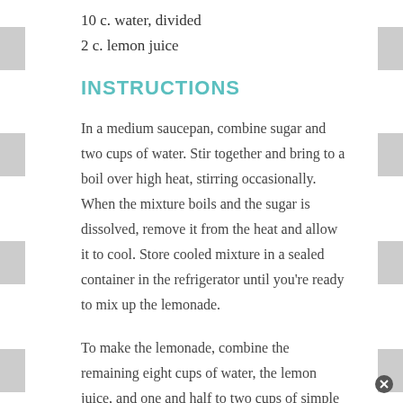10 c. water, divided
2 c. lemon juice
INSTRUCTIONS
In a medium saucepan, combine sugar and two cups of water. Stir together and bring to a boil over high heat, stirring occasionally. When the mixture boils and the sugar is dissolved, remove it from the heat and allow it to cool. Store cooled mixture in a sealed container in the refrigerator until you’re ready to mix up the lemonade.
To make the lemonade, combine the remaining eight cups of water, the lemon juice, and one and half to two cups of simple syrup in a large pitcher. Stir together well and adjust the amounts of simple syrup or lemon juice based on your preferences. Serve chilled over ice.